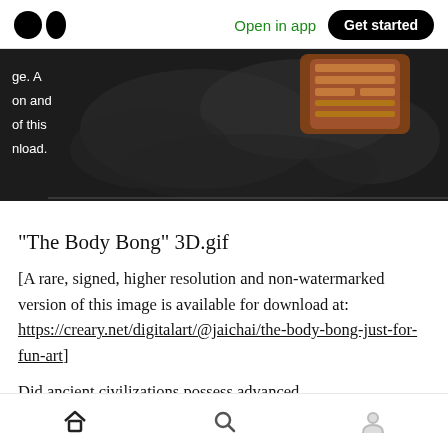Medium logo | Open in app | Get started
[Figure (photo): Dark smoky background with a copper/bronze colored ornate object visible in the upper right. Overlay text on left reads: 'ge. A on and of this nload.']
“The Body Bong” 3D.gif
[A rare, signed, higher resolution and non-watermarked version of this image is available for download at: https://creary.net/digitalart/@jaichai/the-body-bong-just-for-fun-art]
Did ancient civilizations possess advanced
Home | Search | Profile